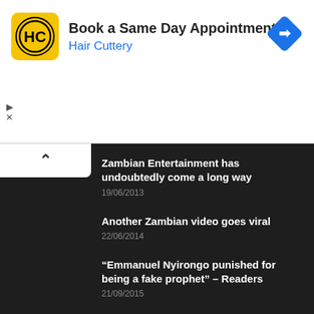[Figure (infographic): Hair Cuttery advertisement banner with yellow logo, text 'Book a Same Day Appointment' and 'Hair Cuttery', and a blue diamond direction arrow icon]
Zambian Entertainment has undoubtedly come a long way
19/06/2013
Another Zambian video goes viral
22/06/2014
“Emmanuel Nyirongo punished for being a fake prophet” – Readers
21/09/2015